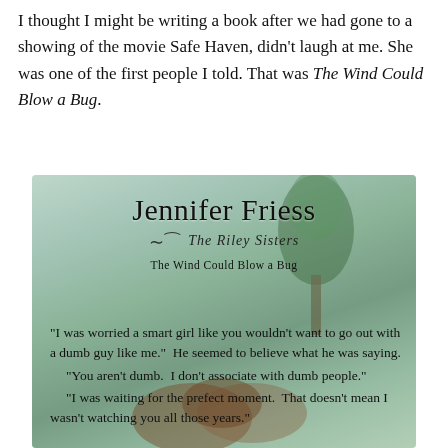I thought I might be writing a book after we had gone to a showing of the movie Safe Haven, didn't laugh at me. She was one of the first people I told. That was The Wind Could Blow a Bug.
[Figure (illustration): Book cover image for 'The Wind Could Blow a Bug' by Jennifer Friess, part of The Riley Sisters series. Background shows an outdoor scene with trees and grass. The cover includes the author name 'Jennifer Friess' in large serif font, 'The Riley Sisters' in decorative script, and 'The Wind Could Blow a Bug' as subtitle. Below are book excerpt quotes about a romantic conversation.]